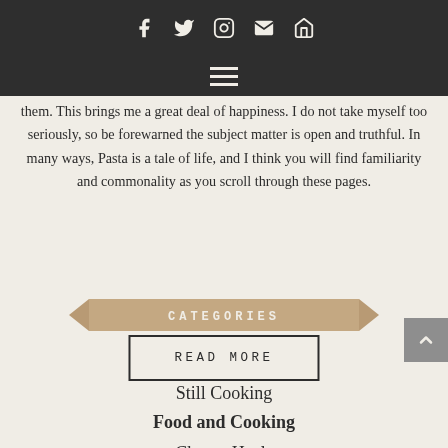Social icons and hamburger menu
them. This brings me a great deal of happiness. I do not take myself too seriously, so be forewarned the subject matter is open and truthful. In many ways, Pasta is a tale of life, and I think you will find familiarity and commonality as you scroll through these pages.
READ MORE
[Figure (infographic): Ribbon banner with text CATEGORIES in tan/khaki color]
Still Cooking
Food and Cooking
Cheese Heals